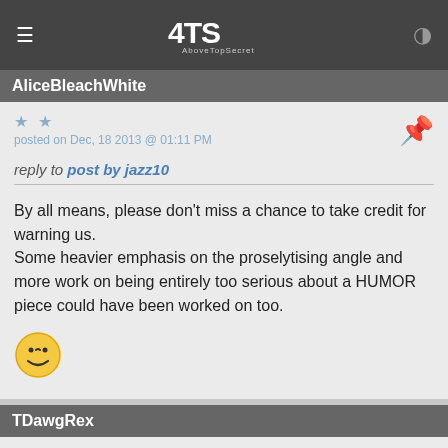ATS AboveTopSecret
AliceBleachWhite
★ ★
posted on Dec, 18 2013 @ 01:11 PM
reply to post by jazz10
By all means, please don't miss a chance to take credit for warning us.
Some heavier emphasis on the proselytising angle and more work on being entirely too serious about a HUMOR piece could have been worked on too.
[Figure (illustration): Winking smiley face emoji]
TDawgRex
★
posted on Dec, 18 2013 @ 01:57 PM